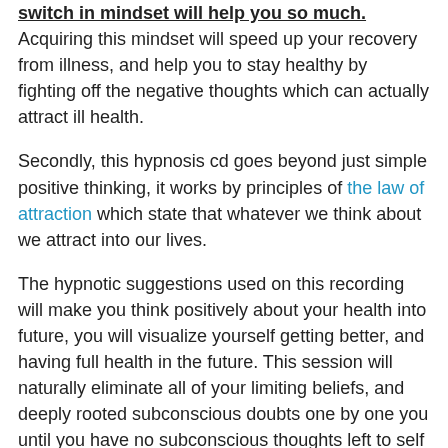switch in mindset will help you so much. Acquiring this mindset will speed up your recovery from illness, and help you to stay healthy by fighting off the negative thoughts which can actually attract ill health.
Secondly, this hypnosis cd goes beyond just simple positive thinking, it works by principles of the law of attraction which state that whatever we think about we attract into our lives.
The hypnotic suggestions used on this recording will make you think positively about your health into future, you will visualize yourself getting better, and having full health in the future. This session will naturally eliminate all of your limiting beliefs, and deeply rooted subconscious doubts one by one you until you have no subconscious thoughts left to self sabotage you. Your entire subconscious mind will be focused on getting healthy and staying healthy, and because you are thinking positively in this way, then you will attract more good health into your life.
Some more text begins at the bottom of the page...